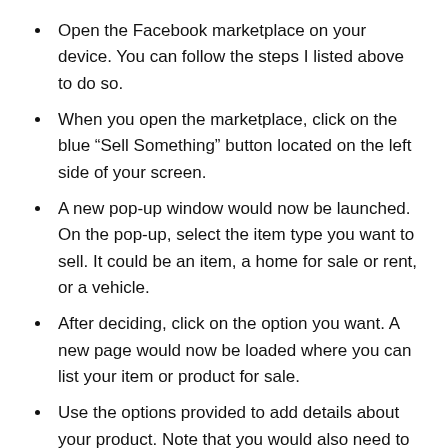Open the Facebook marketplace on your device. You can follow the steps I listed above to do so.
When you open the marketplace, click on the blue “Sell Something” button located on the left side of your screen.
A new pop-up window would now be launched. On the pop-up, select the item type you want to sell. It could be an item, a home for sale or rent, or a vehicle.
After deciding, click on the option you want. A new page would now be loaded where you can list your item or product for sale.
Use the options provided to add details about your product. Note that you would also need to upload at least a photo on your website.
After entering all the relevant details for your item, click on “Next” at the bottom right corner of the window that popped up. You would also be asked to confirm which groups you want to